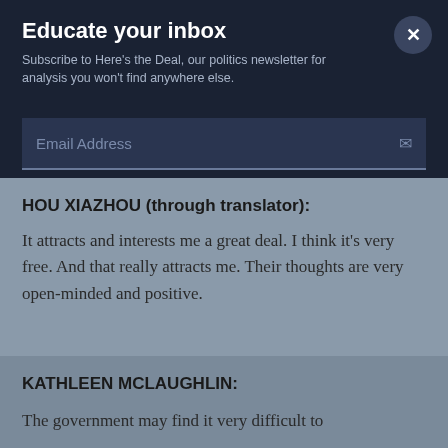Educate your inbox
Subscribe to Here's the Deal, our politics newsletter for analysis you won't find anywhere else.
Email Address
HOU XIAZHOU (through translator):
It attracts and interests me a great deal. I think it's very free. And that really attracts me. Their thoughts are very open-minded and positive.
KATHLEEN MCLAUGHLIN:
The government may find it very difficult to